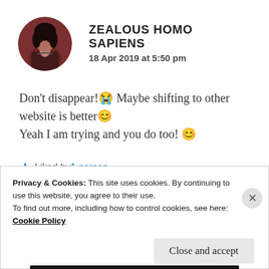[Figure (illustration): Circular avatar image of a person with dark hair against a dark reddish-brown background]
ZEALOUS HOMO SAPIENS
18 Apr 2019 at 5:50 pm
Don't disappear!😭 Maybe shifting to other website is better😊
Yeah I am trying and you do too! 😊
★ Liked by 1 person
Privacy & Cookies: This site uses cookies. By continuing to use this website, you agree to their use.
To find out more, including how to control cookies, see here: Cookie Policy
Close and accept